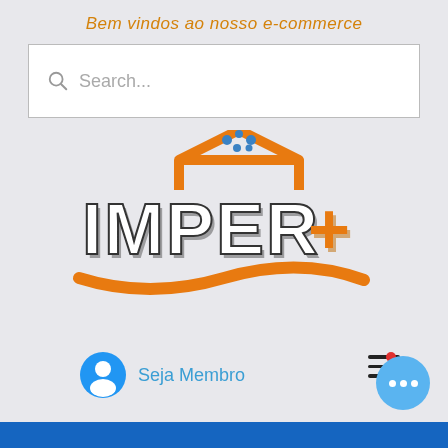Bem vindos ao nosso e-commerce
[Figure (screenshot): Search bar with magnifying glass icon and placeholder text 'Search...']
[Figure (logo): IMPER+ logo with orange roof/house graphic, blue water drops, large 3D text 'IMPER+' in white/dark with orange wave underline]
[Figure (infographic): User account icon with 'Seja Membro' text and hamburger menu icon]
[Figure (other): Blue chat bubble button with three white dots, red notification dot]